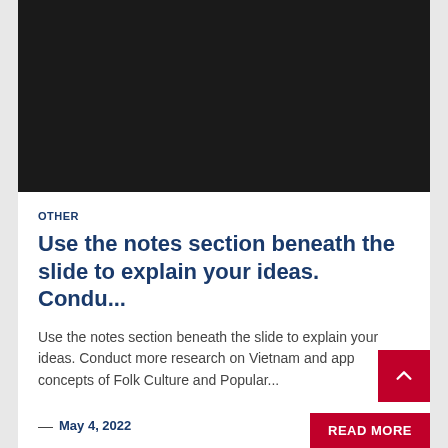[Figure (photo): Dark/black rectangular image placeholder at the top of the card]
OTHER
Use the notes section beneath the slide to explain your ideas. Condu...
Use the notes section beneath the slide to explain your ideas. Conduct more research on Vietnam and app concepts of Folk Culture and Popular...
— May 4, 2022
READ MORE